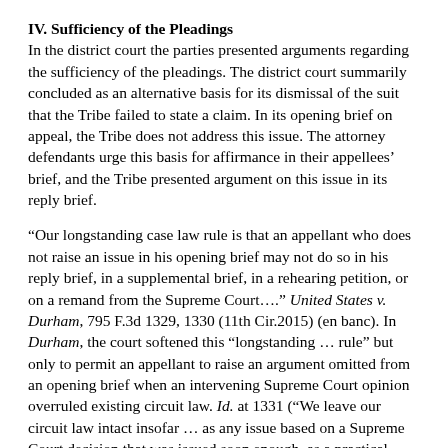IV. Sufficiency of the Pleadings
In the district court the parties presented arguments regarding the sufficiency of the pleadings. The district court summarily concluded as an alternative basis for its dismissal of the suit that the Tribe failed to state a claim. In its opening brief on appeal, the Tribe does not address this issue. The attorney defendants urge this basis for affirmance in their appellees’ brief, and the Tribe presented argument on this issue in its reply brief.
“Our longstanding case law rule is that an appellant who does not raise an issue in his opening brief may not do so in his reply brief, in a supplemental brief, in a rehearing petition, or on a remand from the Supreme Court.…” United States v. Durham, 795 F.3d 1329, 1330 (11th Cir.2015) (en banc). In Durham, the court softened this “longstanding … rule” but only to permit an appellant to raise an argument omitted from an opening brief when an intervening Supreme Court opinion overruled existing circuit law. Id. at 1331 (“We leave our circuit law intact insofar … as any issue based on a Supreme Court decision that was issued soon enough, as a practical